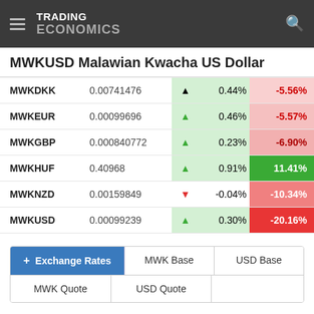TRADING ECONOMICS
MWKUSD Malawian Kwacha US Dollar
|  | Value |  | Daily Change | YTD Change |
| --- | --- | --- | --- | --- |
| MWKDKK | 0.00741476 | ▲ | 0.44% | -5.56% |
| MWKEUR | 0.00099696 | ▲ | 0.46% | -5.57% |
| MWKGBP | 0.000840772 | ▲ | 0.23% | -6.90% |
| MWKHUF | 0.40968 | ▲ | 0.91% | 11.41% |
| MWKNZD | 0.00159849 | ▼ | -0.04% | -10.34% |
| MWKUSD | 0.00099239 | ▲ | 0.30% | -20.16% |
+ Exchange Rates
MWK Base
USD Base
MWK Quote
USD Quote